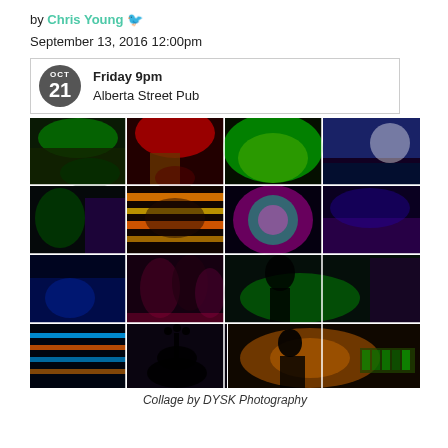by Chris Young [twitter] September 13, 2016 12:00pm
Friday 9pm
Alberta Street Pub
[Figure (photo): Collage of concert/music event photos by DYSK Photography showing musicians, instruments, crowds, and colorful stage lighting in a 4x4 grid arrangement]
Collage by DYSK Photography